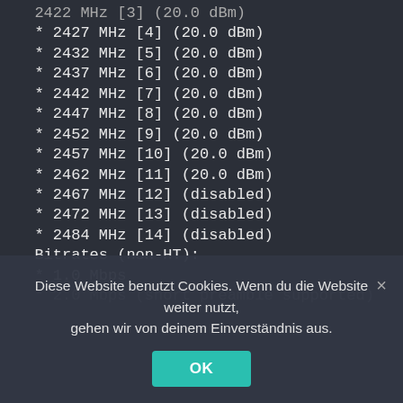2422 MHz [3] (20.0 dBm)
* 2427 MHz [4] (20.0 dBm)
* 2432 MHz [5] (20.0 dBm)
* 2437 MHz [6] (20.0 dBm)
* 2442 MHz [7] (20.0 dBm)
* 2447 MHz [8] (20.0 dBm)
* 2452 MHz [9] (20.0 dBm)
* 2457 MHz [10] (20.0 dBm)
* 2462 MHz [11] (20.0 dBm)
* 2467 MHz [12] (disabled)
* 2472 MHz [13] (disabled)
* 2484 MHz [14] (disabled)
Bitrates (non-HT):
* 1.0 Mbps
* 2.0 Mbps [short preamble supported]
Diese Website benutzt Cookies. Wenn du die Website weiter nutzt, gehen wir von deinem Einverständnis aus.